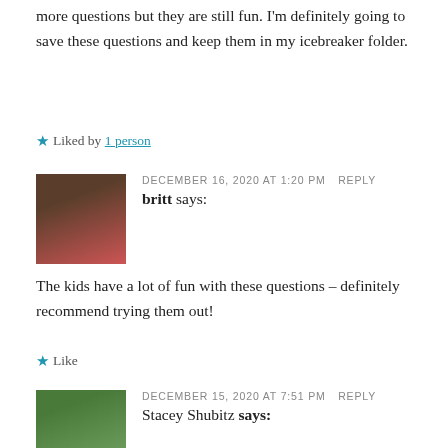more questions but they are still fun. I’m definitely going to save these questions and keep them in my icebreaker folder.
★ Liked by 1 person
DECEMBER 16, 2020 AT 1:20 PM   REPLY
britt says:
The kids have a lot of fun with these questions – definitely recommend trying them out!
★ Like
DECEMBER 15, 2020 AT 7:51 PM   REPLY
Stacey Shubitz says: